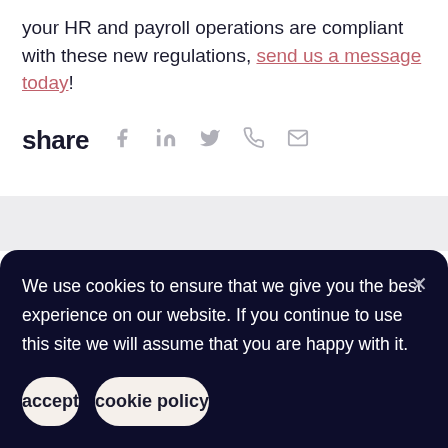your HR and payroll operations are compliant with these new regulations, send us a message today!
share
We use cookies to ensure that we give you the best experience on our website. If you continue to use this site we will assume that you are happy with it.
accept
cookie policy